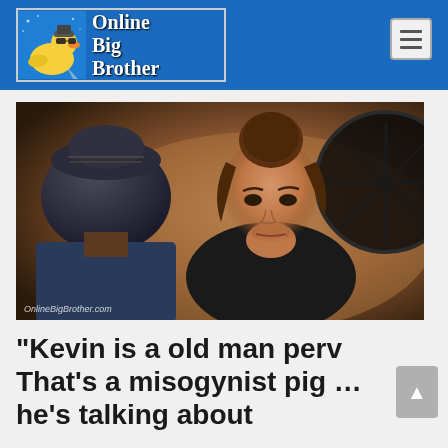Online Big Brother
[Figure (photo): Two people sitting and talking; a woman with her hair in a bun wearing a black shirt faces the camera with a skeptical expression; a man with his back to the camera wearing a dark cap and blue shirt; large decorative clock visible in background; watermark reads OnlineBigBrother.com]
“Kevin is a old man perv That’s a misogynist pig … he’s talking about